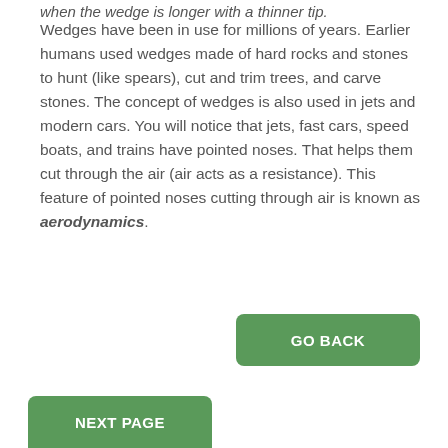when the wedge is longer with a thinner tip.
Wedges have been in use for millions of years. Earlier humans used wedges made of hard rocks and stones to hunt (like spears), cut and trim trees, and carve stones. The concept of wedges is also used in jets and modern cars. You will notice that jets, fast cars, speed boats, and trains have pointed noses. That helps them cut through the air (air acts as a resistance). This feature of pointed noses cutting through air is known as aerodynamics.